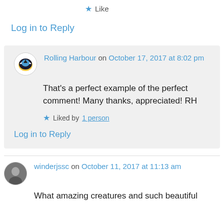Like
Log in to Reply
Rolling Harbour on October 17, 2017 at 8:02 pm
That's a perfect example of the perfect comment! Many thanks, appreciated! RH
Liked by 1 person
Log in to Reply
winderjssc on October 11, 2017 at 11:13 am
What amazing creatures and such beautiful